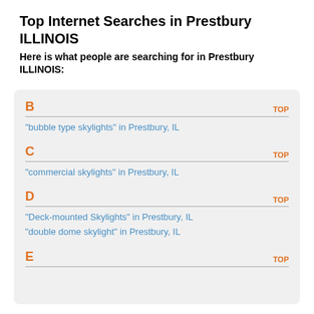Top Internet Searches in Prestbury ILLINOIS
Here is what people are searching for in Prestbury ILLINOIS:
B | TOP
"bubble type skylights" in Prestbury, IL
C | TOP
"commercial skylights" in Prestbury, IL
D | TOP
"Deck-mounted Skylights" in Prestbury, IL
"double dome skylight" in Prestbury, IL
E | TOP